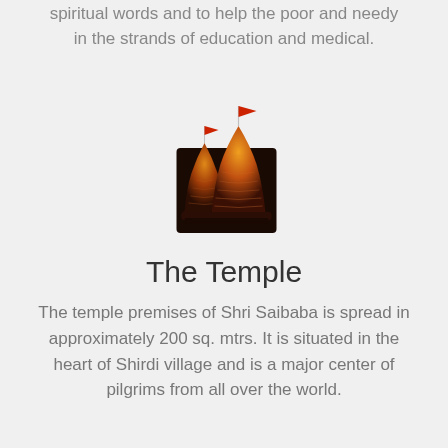spiritual words and to help the poor and needy in the strands of education and medical.
[Figure (illustration): Illustration of two Hindu temple spires (shikhara) in orange/amber gradient tones with red flags on top, set against a dark background.]
The Temple
The temple premises of Shri Saibaba is spread in approximately 200 sq. mtrs. It is situated in the heart of Shirdi village and is a major center of pilgrims from all over the world.